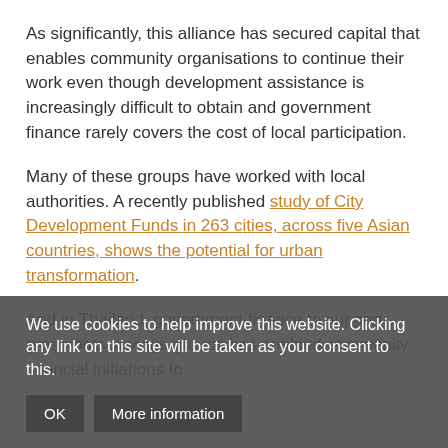As significantly, this alliance has secured capital that enables community organisations to continue their work even though development assistance is increasingly difficult to obtain and government finance rarely covers the cost of local participation.
Many of these groups have worked with local authorities. A recently published study of City Development Funds in 263 cities, across five Asian countries, shows the potential for urban transformation.
And in Thailand, government finance to support grassroots savings groups has enabled community financial initiations to
We use cookies to help improve this website. Clicking any link on this site will be taken as your consent to this.